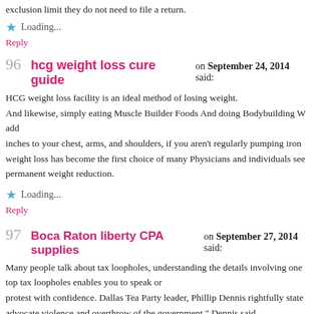exclusion limit they do not need to file a return.
Loading...
Reply
96 hcg weight loss cure guide on September 24, 2014 said:
HCG weight loss facility is an ideal method of losing weight. And likewise, simply eating Muscle Builder Foods And doing Bodybuilding W add inches to your chest, arms, and shoulders, if you aren't regularly pumping iron weight loss has become the first choice of many Physicians and individuals see permanent weight reduction.
Loading...
Reply
97 Boca Raton liberty CPA supplies on September 27, 2014 said:
Many people talk about tax loopholes, understanding the details involving one top tax loopholes enables you to speak or protest with confidence. Dallas Tea Party leader, Phillip Dennis rightfully state advocate violence and overthrow of the government," Dennis said.